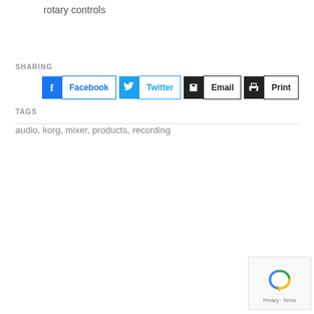rotary controls
SHARING
[Figure (other): Social sharing buttons: Facebook, Twitter, Email, Print]
TAGS
audio, korg, mixer, products, recording
[Figure (other): reCAPTCHA widget with Privacy and Terms links]